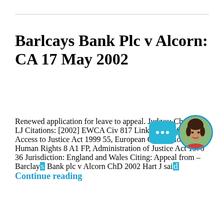Barlcays Bank Plc v Alcorn: CA 17 May 2002
Renewed application for leave to appeal. Judges: Chadwick LJ Citations: [2002] EWCA Civ 817 Links: Bailii Statutes: Access to Justice Act 1999 55, European Convention on Human Rights 8 A1 FP, Administration of Justice Act 1970 36 Jurisdiction: England and Wales Citing: Appeal from – Barclays Bank plc v Alcorn ChD 2002 Hart J said Continue reading
[Figure (illustration): Chat widget with teal speech bubble showing three dots and a circular avatar photo of a woman]